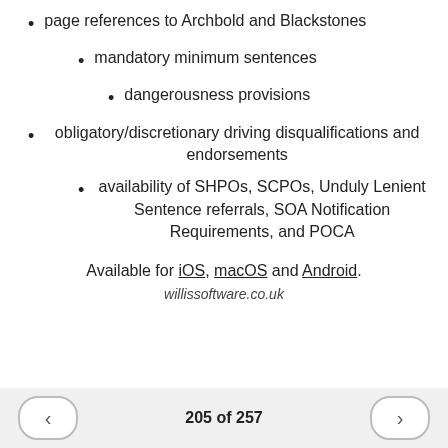page references to Archbold and Blackstones
mandatory minimum sentences
dangerousness provisions
obligatory/discretionary driving disqualifications and endorsements
availability of SHPOs, SCPOs, Unduly Lenient Sentence referrals, SOA Notification Requirements, and POCA
Available for iOS, macOS and Android.
willissoftware.co.uk
205 of 257